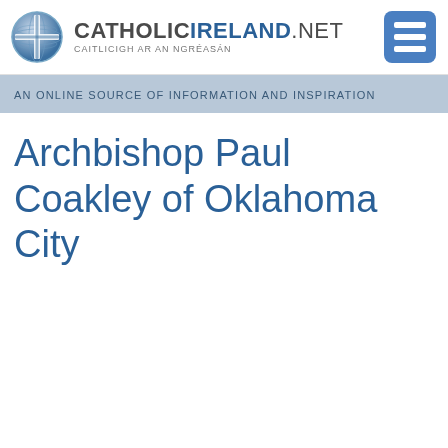CATHOLICIRELAND.NET CAITLICIGH AR AN NGRÉASÁN
AN ONLINE SOURCE OF INFORMATION AND INSPIRATION
Archbishop Paul Coakley of Oklahoma City